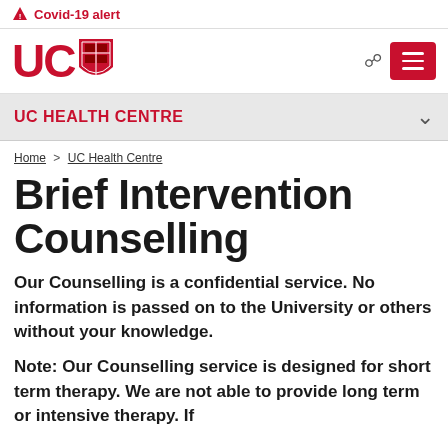⚠ Covid-19 alert
[Figure (logo): UC University of Canterbury logo with red shield]
UC HEALTH CENTRE
Home > UC Health Centre
Brief Intervention Counselling
Our Counselling is a confidential service. No information is passed on to the University or others without your knowledge.
Note: Our Counselling service is designed for short term therapy. We are not able to provide long term or intensive therapy. If